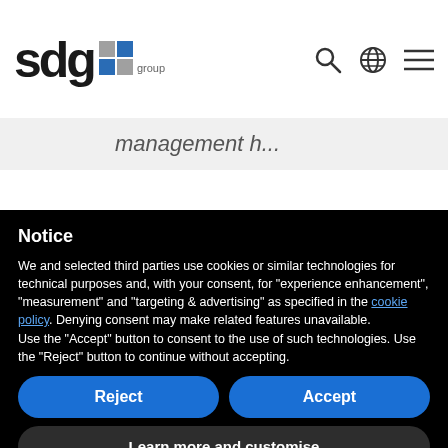[Figure (logo): SDG Group logo with blue/grey grid squares and 'group' text beneath]
management h...
Notice
We and selected third parties use cookies or similar technologies for technical purposes and, with your consent, for “experience enhancement”, “measurement” and “targeting & advertising” as specified in the cookie policy. Denying consent may make related features unavailable.
Use the “Accept” button to consent to the use of such technologies. Use the “Reject” button to continue without accepting.
Reject
Accept
Learn more and customise